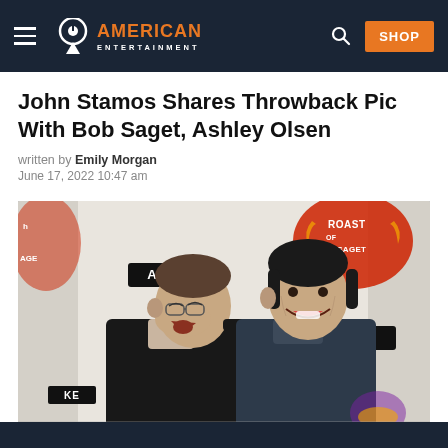American Entertainment — navigation bar with hamburger menu, logo, search icon, SHOP button
John Stamos Shares Throwback Pic With Bob Saget, Ashley Olsen
written by Emily Morgan
June 17, 2022 10:47 am
[Figure (photo): Two men laughing together on a red carpet event for the Roast of Bob Saget, with AXE branding visible in the background. One man in a black blazer with his arm around the other, both sharing a joyful moment.]